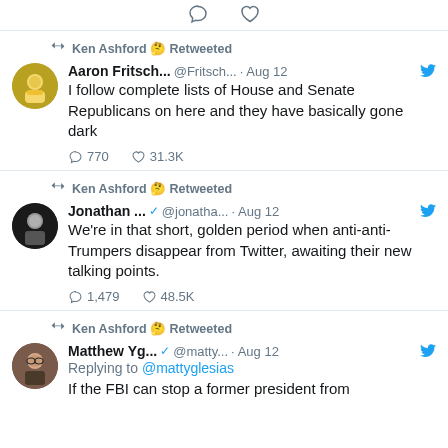[Figure (screenshot): Partial tweet icons at top (reply and like icons)]
Ken Ashford 🤔 Retweeted
Aaron Fritsch... @Fritsch... · Aug 12 — I follow complete lists of House and Senate Republicans on here and they have basically gone dark — 770 replies, 31.3K likes
Ken Ashford 🤔 Retweeted
Jonathan ... ✓ @jonatha... · Aug 12 — We're in that short, golden period when anti-anti-Trumpers disappear from Twitter, awaiting their new talking points. — 1,479 replies, 48.5K likes
Ken Ashford 🤔 Retweeted
Matthew Yg... ✓ @matty... · Aug 12 — Replying to @mattyglesias — If the FBI can stop a former president from